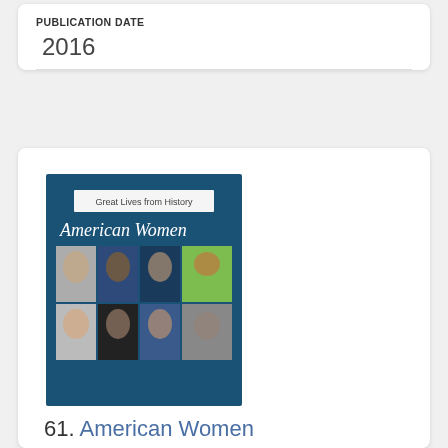PUBLICATION DATE
2016
[Figure (photo): Book cover of 'Great Lives from History: American Women' showing a grid of eight photographs of notable women on a dark teal background.]
61. American Women
EDITOR
Mary K. Trigg